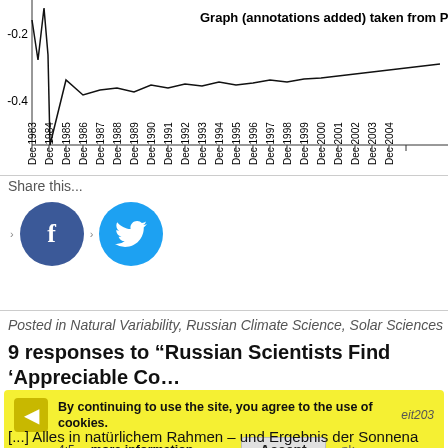[Figure (continuous-plot): Bottom portion of a time series graph showing temperature or climate data from Dec 1983 to Dec 2004, with y-axis values around -0.2 to -0.4. Bold annotation reads 'Graph (annotations added) taken from Page, 2'. X-axis shows dates Dec 1983 through Dec 2004+ at annual intervals, rotated labels.]
Share this...
[Figure (illustration): Facebook share button (dark blue circle with 'f') and Twitter share button (cyan circle with bird icon), with arrow/bullet markers beside each.]
Posted in Natural Variability, Russian Climate Science, Solar Sciences | 9 Resp
9 responses to “Russian Scientists Find ‘Appreciable Co… Natural Variability, Solar Forcing To Recent Warming”
By continuing to use the site, you agree to the use of cookies.
more information
Accept
[...] Alles in natürlichem Rahmen – und Ergebnis der Sonnena